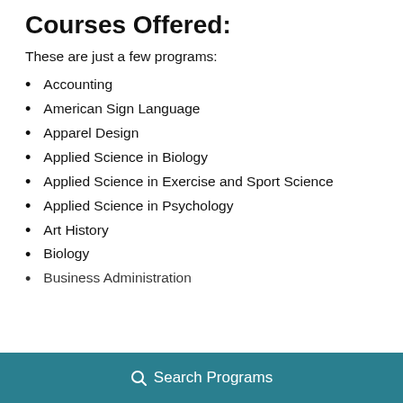Courses Offered:
These are just a few programs:
Accounting
American Sign Language
Apparel Design
Applied Science in Biology
Applied Science in Exercise and Sport Science
Applied Science in Psychology
Art History
Biology
Business Administration
Search Programs